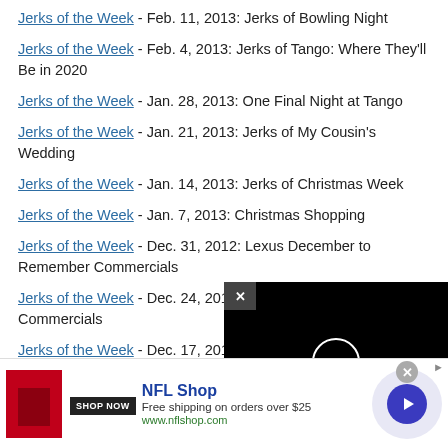Jerks of the Week - Feb. 11, 2013: Jerks of Bowling Night
Jerks of the Week - Feb. 4, 2013: Jerks of Tango: Where They'll Be in 2020
Jerks of the Week - Jan. 28, 2013: One Final Night at Tango
Jerks of the Week - Jan. 21, 2013: Jerks of My Cousin's Wedding
Jerks of the Week - Jan. 14, 2013: Jerks of Christmas Week
Jerks of the Week - Jan. 7, 2013: Christmas Shopping
Jerks of the Week - Dec. 31, 2012: Lexus December to Remember Commercials
Jerks of the Week - Dec. 24, 2012: Christmas Jewelry Commercials
Jerks of the Week - Dec. 17, 2012: J...
Jerks of the Week - Dec. 10, 2012: J... Eaters' Wedding
Jerks of the Week - Dec. 3, 2013: E...
[Figure (screenshot): Video overlay on black background with close X button and loading spinner circle]
[Figure (screenshot): NFL Shop advertisement banner with red helmet image, Shop Now button, Free shipping on orders over $25, www.nflshop.com, and blue play button circle]